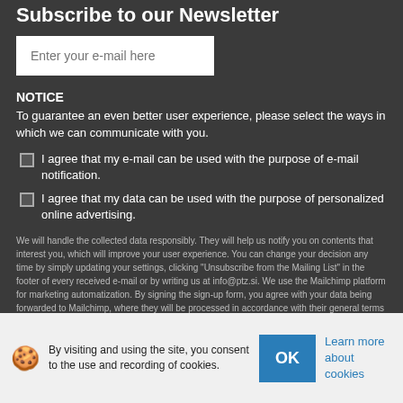Subscribe to our Newsletter
Enter your e-mail here
NOTICE
To guarantee an even better user experience, please select the ways in which we can communicate with you.
I agree that my e-mail can be used with the purpose of e-mail notification.
I agree that my data can be used with the purpose of personalized online advertising.
We will handle the collected data responsibly. They will help us notify you on contents that interest you, which will improve your user experience. You can change your decision any time by simply updating your settings, clicking "Unsubscribe from the Mailing List" in the footer of every received e-mail or by writing us at info@ptz.si. We use the Mailchimp platform for marketing automatization. By signing the sign-up form, you agree with your data being forwarded to Mailchimp, where they will be processed in accordance with their general terms and conditions.
SIGN-UP
» WebShop-Products
By visiting and using the site, you consent to the use and recording of cookies.
OK
Learn more about cookies